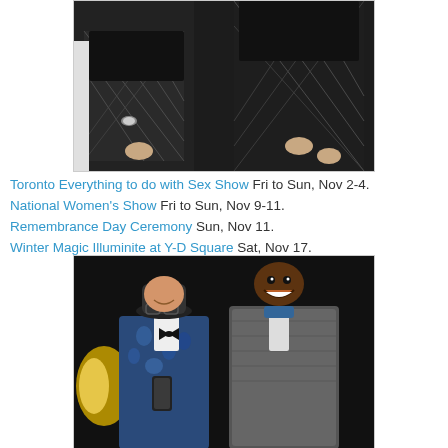[Figure (photo): Close-up photo of two women wearing fishnet stockings, taken from waist down at a party or event.]
Toronto Everything to do with Sex Show Fri to Sun, Nov 2-4. National Women's Show Fri to Sun, Nov 9-11. Remembrance Day Ceremony Sun, Nov 11. Winter Magic Illuminite at Y-D Square Sat, Nov 17.
[Figure (photo): Photo of two men smiling at a party or event. One wearing a floral/blue blazer with a bow tie and hat, the other wearing a grey patterned blazer.]